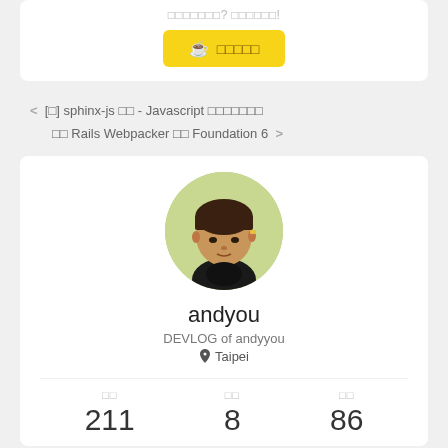□□□□□□□? □□□□□□!
[Figure (illustration): Yellow button with coffee cup icon and Japanese/Korean text]
< [□] sphinx-js □□ - Javascript □□□□□□□
□□ Rails Webpacker □□ Foundation 6 >
[Figure (photo): Circular profile photo of a young Asian man with a bowl haircut wearing a black top]
andyou
DEVLOG of andyyou
Taipei
□□　211　□□　8　□□　86